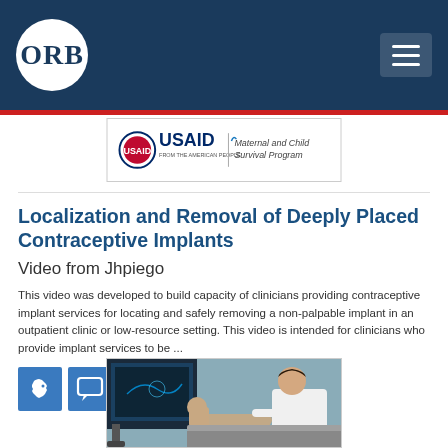[Figure (logo): ORB logo - white circle with dark blue ORB text on dark navy header bar]
[Figure (logo): USAID logo and Maternal and Child Survival Program logo banner]
Localization and Removal of Deeply Placed Contraceptive Implants
Video from Jhpiego
This video was developed to build capacity of clinicians providing contraceptive implant services for locating and safely removing a non-palpable implant in an outpatient clinic or low-resource setting. This video is intended for clinicians who provide implant services to be ...
[Figure (illustration): Two small icons: Africa continent icon and speech/comment bubble icon, both in blue square backgrounds]
[Figure (photo): Thumbnail photo of a female clinician in white coat using ultrasound equipment on a patient lying on a table in a clinical setting]